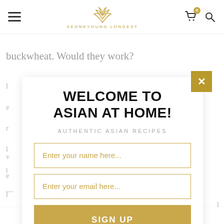SEONKYOUNG LONGEST — navigation bar with hamburger menu, logo, cart and search icons
buckwheat. Would they work?
[Figure (screenshot): Website modal popup with 'WELCOME TO ASIAN AT HOME!' heading, subtitle 'AUTHENTIC ASIAN RECIPES', two input fields for name and email, and a gold SIGN UP button. A gold X close button appears top-right of the modal.]